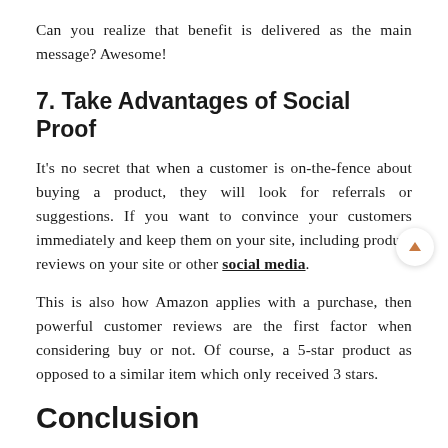Can you realize that benefit is delivered as the main message? Awesome!
7. Take Advantages of Social Proof
It's no secret that when a customer is on-the-fence about buying a product, they will look for referrals or suggestions. If you want to convince your customers immediately and keep them on your site, including product reviews on your site or other social media.
This is also how Amazon applies with a purchase, then powerful customer reviews are the first factor when considering buy or not. Of course, a 5-star product as opposed to a similar item which only received 3 stars.
Conclusion